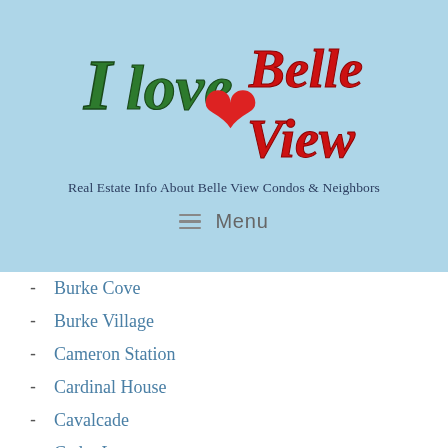[Figure (logo): I love Belle View logo with red heart, green and red script lettering]
Real Estate Info About Belle View Condos & Neighbors
≡  Menu
Burke Cove
Burke Village
Cameron Station
Cardinal House
Cavalcade
Cedar Lane